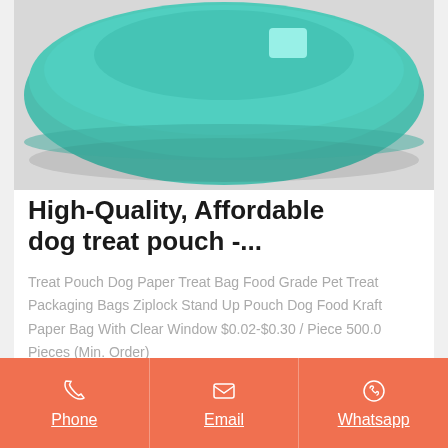[Figure (photo): Teal/turquoise colored dog bowl or ceramic container on a light gray background, photographed from a slightly elevated angle showing the rounded top surface with a light reflection highlight.]
High-Quality, Affordable dog treat pouch -...
Treat Pouch Dog Paper Treat Bag Food Grade Pet Treat Packaging Bags Ziplock Stand Up Pouch Dog Food Kraft Paper Bag With Clear Window $0.02-$0.30 / Piece 500.0 Pieces (Min. Order)
Get Price
Phone  Email  Whatsapp